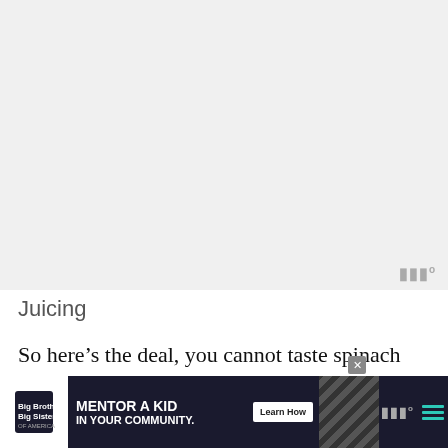[Figure (photo): Large image placeholder area (light gray), appears to be a blog/article hero image area]
Juicing
So here’s the deal, you cannot taste spinach when it’s juiced with other fruits. Promise. Yes, I was skeptical too, so I totally get your hesitation. I usually add 2 cups of spinach then a…
[Figure (screenshot): Advertisement banner: Big Brothers Big Sisters logo, text MENTOR A KID IN YOUR COMMUNITY. Learn How button, diagonal stripe pattern, close X button, hamburger menu, watermark logo]